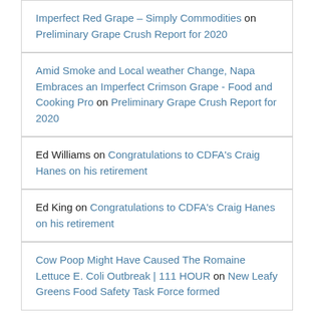Imperfect Red Grape – Simply Commodities on Preliminary Grape Crush Report for 2020
Amid Smoke and Local weather Change, Napa Embraces an Imperfect Crimson Grape - Food and Cooking Pro on Preliminary Grape Crush Report for 2020
Ed Williams on Congratulations to CDFA's Craig Hanes on his retirement
Ed King on Congratulations to CDFA's Craig Hanes on his retirement
Cow Poop Might Have Caused The Romaine Lettuce E. Coli Outbreak | 111 HOUR on New Leafy Greens Food Safety Task Force formed
Archives
September 2022